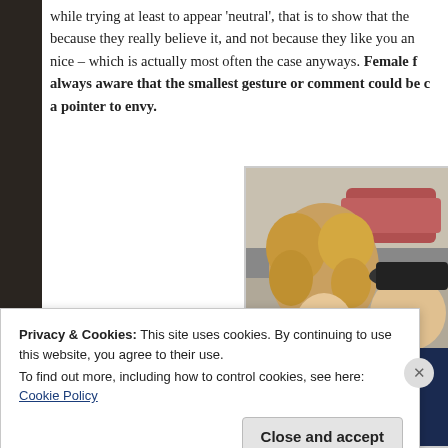while trying at least to appear 'neutral', that is to show that they say it because they really believe it, and not because they like you and want to be nice – which is actually most often the case anyways. Female friends are always aware that the smallest gesture or comment could be considered a pointer to envy.
[Figure (photo): A woman with curly blonde hair laughing and a man in a dark jacket and hat, both smiling, photographed outdoors on a city street with a car visible in the background.]
Privacy & Cookies: This site uses cookies. By continuing to use this website, you agree to their use.
To find out more, including how to control cookies, see here: Cookie Policy